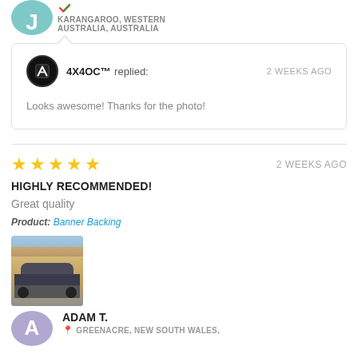KARANGAROO, WESTERN AUSTRALIA, AUSTRALIA
4X4OC™ replied: Looks awesome! Thanks for the photo!
2 WEEKS AGO
★★★★★ 2 WEEKS AGO
HIGHLY RECOMMENDED!
Great quality
Product: Banner Backing
[Figure (photo): Photo of a vehicle parked outside a building]
ADAM T. GREENACRE, NEW SOUTH WALES,